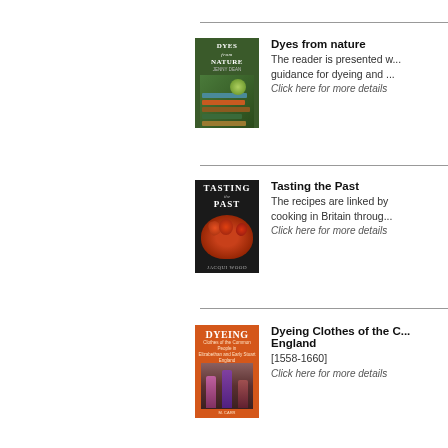[Figure (illustration): Book cover for 'Dyes from Nature' showing stacked colorful fabrics and plants on dark green background]
Dyes from nature
The reader is presented with guidance for dyeing and ...
Click here for more details
[Figure (illustration): Book cover for 'Tasting the Past' showing a bowl of red peppers/tomatoes on dark background]
Tasting the Past
The recipes are linked by cooking in Britain through...
Click here for more details
[Figure (illustration): Book cover for 'Dyeing Clothes of the ... England' with orange background showing fabric dyeing scene]
Dyeing Clothes of the C... England
[1558-1660]
Click here for more details